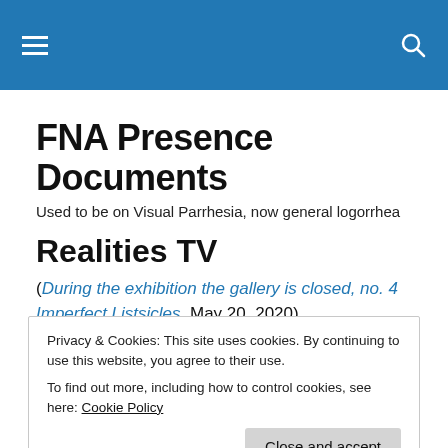FNA Presence Documents (site header with hamburger menu and search icon)
FNA Presence Documents
Used to be on Visual Parrhesia, now general logorrhea
Realities TV
(During the exhibition the gallery is closed, no. 4 Imperfect Listsicles, May 20, 2020)
Privacy & Cookies: This site uses cookies. By continuing to use this website, you agree to their use.
To find out more, including how to control cookies, see here: Cookie Policy
movies and on television and at times decide to craft